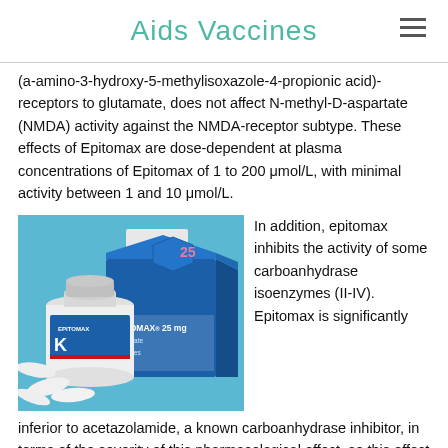Aids Vaccines
(a-amino-3-hydroxy-5-methylisoxazole-4-propionic acid)-receptors to glutamate, does not affect N-methyl-D-aspartate (NMDA) activity against the NMDA-receptor subtype. These effects of Epitomax are dose-dependent at plasma concentrations of Epitomax of 1 to 200 μmol/L, with minimal activity between 1 and 10 μmol/L.
[Figure (photo): Photograph of Epitomax 25mg medication packaging: a white pill bottle and a blue-and-white box labeled EPITOMAX 25 mg, with white capsules scattered on a blue background.]
In addition, epitomax inhibits the activity of some carboanhydrase isoenzymes (II-IV). Epitomax is significantly inferior to acetazolamide, a known carboanhydrase inhibitor, in terms of the severity of this pharmacological effect, so this effect of Epitomax is not a major component of its antiepileptic activity. After oral administration Epitomax is quickly and well absorbed from the